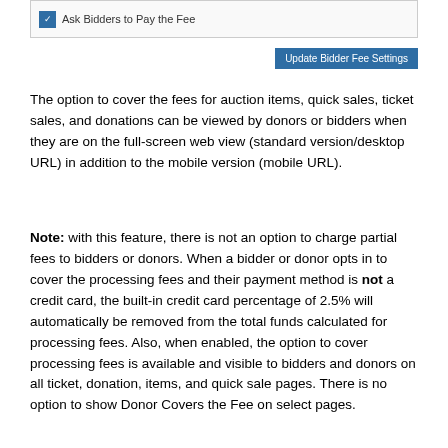[Figure (screenshot): UI element showing a checkbox labeled 'Ask Bidders to Pay the Fee' inside a bordered box, with an 'Update Bidder Fee Settings' button on the right.]
The option to cover the fees for auction items, quick sales, ticket sales, and donations can be viewed by donors or bidders when they are on the full-screen web view (standard version/desktop URL) in addition to the mobile version (mobile URL).
Note: with this feature, there is not an option to charge partial fees to bidders or donors. When a bidder or donor opts in to cover the processing fees and their payment method is not a credit card, the built-in credit card percentage of 2.5% will automatically be removed from the total funds calculated for processing fees. Also, when enabled, the option to cover processing fees is available and visible to bidders and donors on all ticket, donation, items, and quick sale pages. There is no option to show Donor Covers the Fee on select pages.